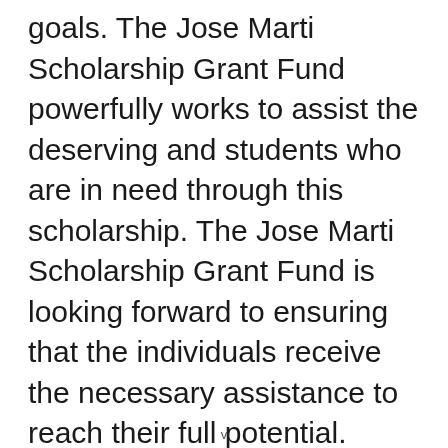goals. The Jose Marti Scholarship Grant Fund powerfully works to assist the deserving and students who are in need through this scholarship. The Jose Marti Scholarship Grant Fund is looking forward to ensuring that the individuals receive the necessary assistance to reach their full potential.
The Jose Marti Scholarship Grant Fund is an organization that is wholeheartedly involved in the betterment of students. The Jose Marti Scholarship Grant Fund believes every student
v